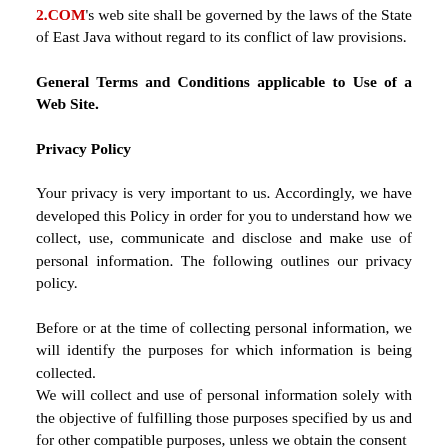2.COM's web site shall be governed by the laws of the State of East Java without regard to its conflict of law provisions.
General Terms and Conditions applicable to Use of a Web Site.
Privacy Policy
Your privacy is very important to us. Accordingly, we have developed this Policy in order for you to understand how we collect, use, communicate and disclose and make use of personal information. The following outlines our privacy policy.
Before or at the time of collecting personal information, we will identify the purposes for which information is being collected.
We will collect and use of personal information solely with the objective of fulfilling those purposes specified by us and for other compatible purposes, unless we obtain the consent